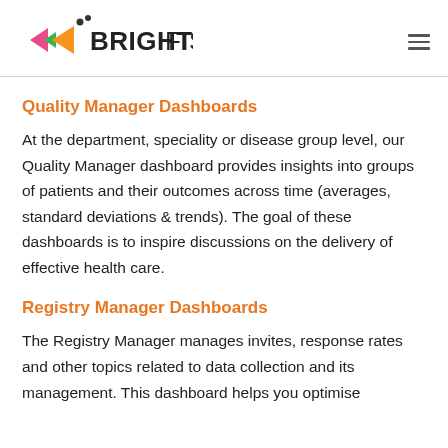BRIGHTFISH
Quality Manager Dashboards
At the department, speciality or disease group level, our Quality Manager dashboard provides insights into groups of patients and their outcomes across time (averages, standard deviations & trends). The goal of these dashboards is to inspire discussions on the delivery of effective health care.
Registry Manager Dashboards
The Registry Manager manages invites, response rates and other topics related to data collection and its management. This dashboard helps you optimise